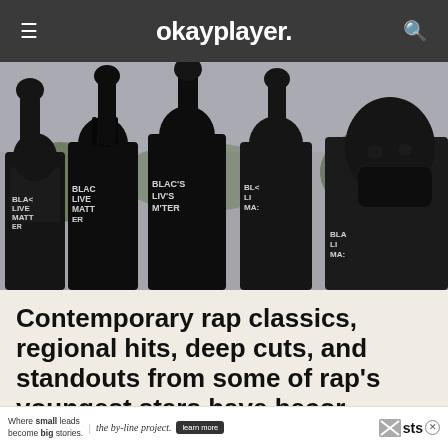okayplayer.
[Figure (photo): Group of young Black men wearing Black Lives Matter t-shirts, raising fists in protest outdoors.]
Contemporary rap classics, regional hits, deep cuts, and standouts from some of rap's youngest stars have becor group
Where small leads become big stories. the by-line project. learn more sts